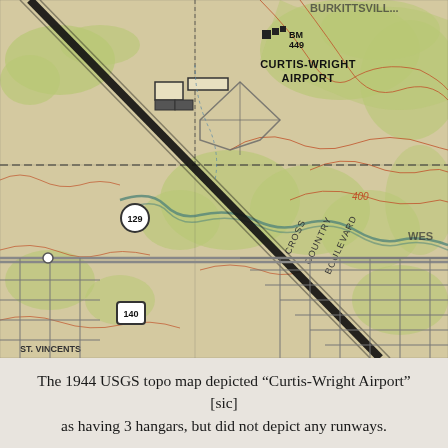[Figure (map): 1944 USGS topographic map excerpt showing Curtis-Wright Airport area with contour lines, roads including Route 129 and Route 140, Cross Country Boulevard, green vegetation areas, and urban grid streets. BM 449 benchmark marker visible near airport label.]
The 1944 USGS topo map depicted “Curtis-Wright Airport” [sic] as having 3 hangars, but did not depict any runways.